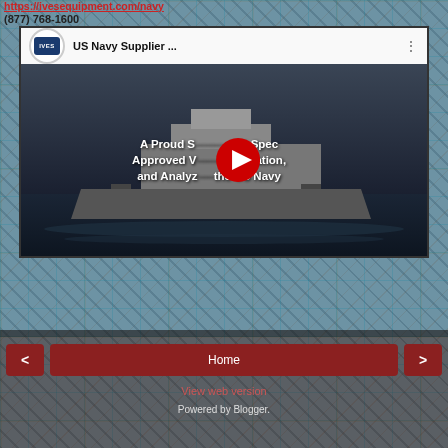https://ivesequipment.com/navy
(877) 768-1600
[Figure (screenshot): YouTube video thumbnail showing IVES Equipment logo and US Navy aircraft carrier with overlay text: 'A Proud Supplier of Mil-Spec Approved V... umentation, and Analyzers to the US Navy'. Video title: 'US Navy Supplier ...' with play button.]
Home
View web version
Powered by Blogger.